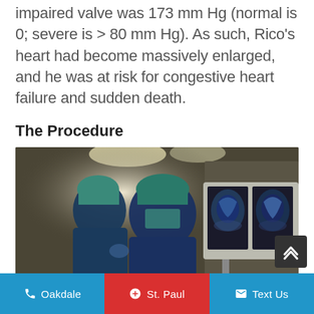impaired valve was 173 mm Hg (normal is 0; severe is > 80 mm Hg). As such, Rico's heart had become massively enlarged, and he was at risk for congestive heart failure and sudden death.
The Procedure
[Figure (photo): Surgical team in an operating room, two surgeons in blue scrubs and surgical caps leaning over a patient. In the background, a medical monitor displays two endoscopic/fluoroscopic images side by side.]
Oakdale   +  St. Paul   Text Us